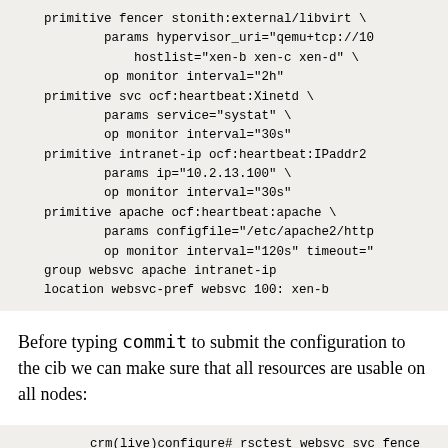primitive fencer stonith:external/libvirt \
        params hypervisor_uri="qemu+tcp://10
            hostlist="xen-b xen-c xen-d" \
        op monitor interval="2h"
    primitive svc ocf:heartbeat:Xinetd \
            params service="systat" \
            op monitor interval="30s"
    primitive intranet-ip ocf:heartbeat:IPaddr2
            params ip="10.2.13.100" \
            op monitor interval="30s"
    primitive apache ocf:heartbeat:apache \
            params configfile="/etc/apache2/http
            op monitor interval="120s" timeout="
    group websvc apache intranet-ip
    location websvc-pref websvc 100: xen-b
Before typing commit to submit the configuration to the cib we can make sure that all resources are usable on all nodes:
crm(live)configure# rsctest websvc svc fence